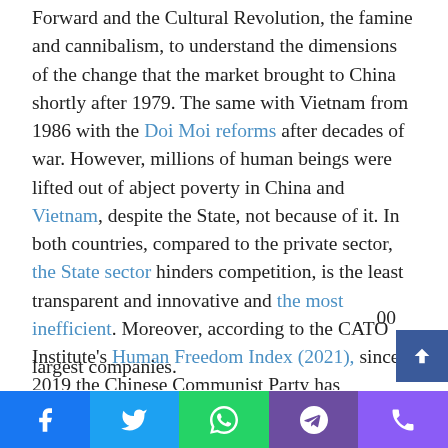Forward and the Cultural Revolution, the famine and cannibalism, to understand the dimensions of the change that the market brought to China shortly after 1979. The same with Vietnam from 1986 with the Doi Moi reforms after decades of war. However, millions of human beings were lifted out of abject poverty in China and Vietnam, despite the State, not because of it. In both countries, compared to the private sector, the State sector hinders competition, is the least transparent and innovative and the most inefficient. Moreover, according to the CATO Institute's Human Freedom Index (2021), since 2019 the Chinese Communist Party has intensified its attacks on the free market and accelerated arrests of entrepreneurs and the establishment of party cells in 73% of all private companies, a figure that rises to 92% for the country's 500 largest companies.
[Figure (other): Social media share bar with Facebook, Twitter, WhatsApp, Telegram, and phone/Viber icons]